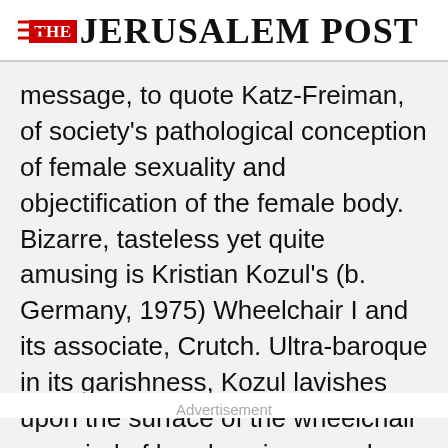THE JERUSALEM POST
message, to quote Katz-Freiman, of society's pathological conception of female sexuality and objectification of the female body. Bizarre, tasteless yet quite amusing is Kristian Kozul's (b. Germany, 1975) Wheelchair I and its associate, Crutch. Ultra-baroque in its garishness, Kozul lavishes upon the surface of the wheelchair a myriad of beads, mirrors and rhinestones then sets them down on a bed of rotating fluffy white
Advertisement